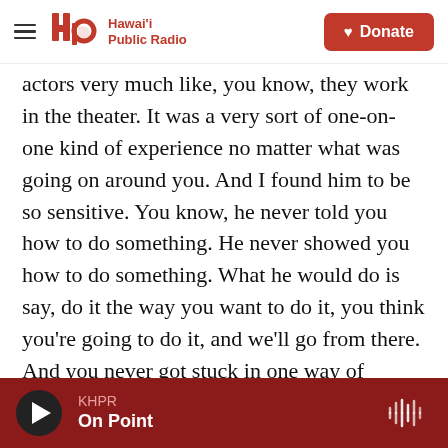Hawai'i Public Radio — Donate
actors very much like, you know, they work in the theater. It was a very sort of one-on-one kind of experience no matter what was going on around you. And I found him to be so sensitive. You know, he never told you how to do something. He never showed you how to do something. What he would do is say, do it the way you want to do it, you think you're going to do it, and we'll go from there. And you never got stuck in one way of thinking about it. And that was what I thought was so wonderful to work for him as an actor. You know, it was just a beautiful experience.
KHPR On Point